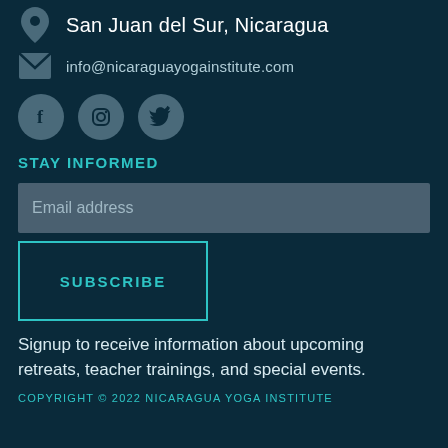San Juan del Sur, Nicaragua
info@nicaraguayogainstitute.com
[Figure (illustration): Three social media icon circles: Facebook (f), Instagram (camera), Twitter (bird)]
STAY INFORMED
Email address
SUBSCRIBE
Signup to receive information about upcoming retreats, teacher trainings, and special events.
COPYRIGHT © 2022 NICARAGUA YOGA INSTITUTE